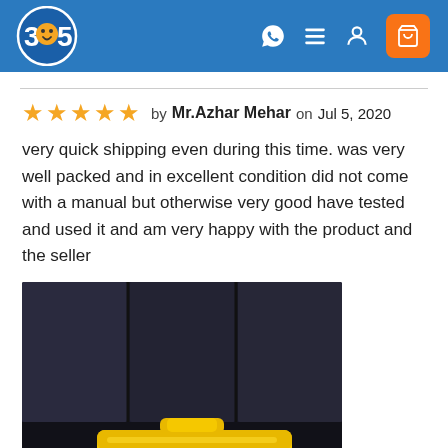365 logo and navigation header
★★★★★ by Mr.Azhar Mehar on Jul 5, 2020
very quick shipping even during this time. was very well packed and in excellent condition did not come with a manual but otherwise very good have tested and used it and am very happy with the product and the seller
[Figure (photo): Photo of a yellow tool/equipment case on dark seats]